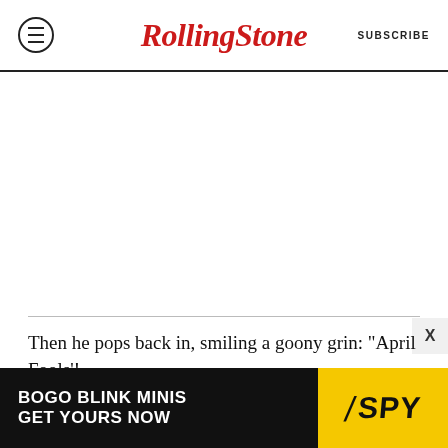RollingStone — SUBSCRIBE
Then he pops back in, smiling a goony grin: “April Fools’!
Browse Rolling St...
[Figure (other): Advertisement banner: BOGO BLINK MINIS / GET YOURS NOW — SPY logo on yellow background]